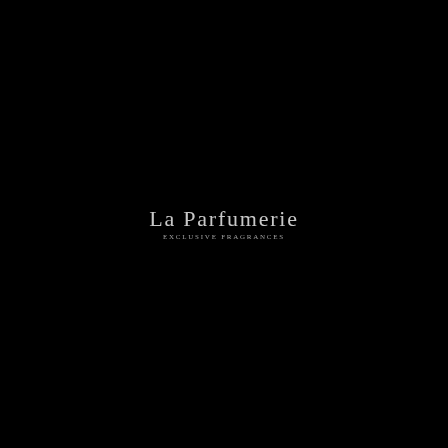[Figure (logo): La Parfumerie Exclusive Fragrances logo centered on black background. Brand name in serif font with tagline below.]